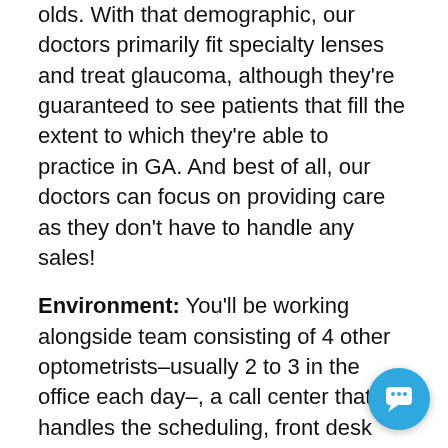olds. With that demographic, our doctors primarily fit specialty lenses and treat glaucoma, although they're guaranteed to see patients that fill the extent to which they're able to practice in GA. And best of all, our doctors can focus on providing care as they don't have to handle any sales!
Environment: You'll be working alongside team consisting of 4 other optometrists–usually 2 to 3 in the office each day–, a call center that handles the scheduling, front desk staff, and a technician. We're extremely flexible with our scheduling and hours, and can build a schedule that caters to what you need and are looking for. Additionally, we have updated, state of art offices with some of the latest technology RoyEHR, Topcon Maestro 2 OCTs, LiniScans